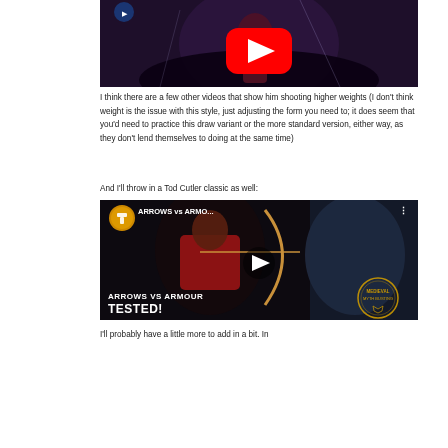[Figure (screenshot): YouTube video thumbnail showing a warrior/archer figure in dark moody lighting with red armor, with a YouTube play button overlay in red]
I think there are a few other videos that show him shooting higher weights (I don't think weight is the issue with this style, just adjusting the form you need to; it does seem that you'd need to practice this draw variant or the more standard version, either way, as they don't lend themselves to doing at the same time)
And I'll throw in a Tod Cutler classic as well:
[Figure (screenshot): YouTube video thumbnail for 'ARROWS vs ARMO...' by a channel with a hammer anvil logo, showing an archer in red shirt drawing a bow, with 'ARROWS VS ARMOUR TESTED!' text overlay and a Medieval Myth Busting badge, with a play button overlay]
I'll probably have a little more to add in a bit. In